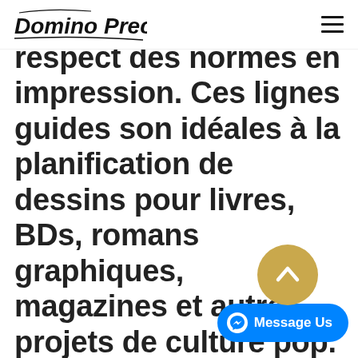Domino Precisr [logo] + hamburger menu
respect des normes en impression. Ces lignes guides son idéales à la planification de dessins pour livres, BDs, romans graphiques, magazines et autre projets de culture pop. Nous sommes amis aux indépendants. Nous sommes capables de faire une impression parfaite pour tous projets.
[Figure (other): Facebook Messenger 'Message Us' chat button overlay (blue pill-shaped button) with a gold scroll-to-top circular button above it]